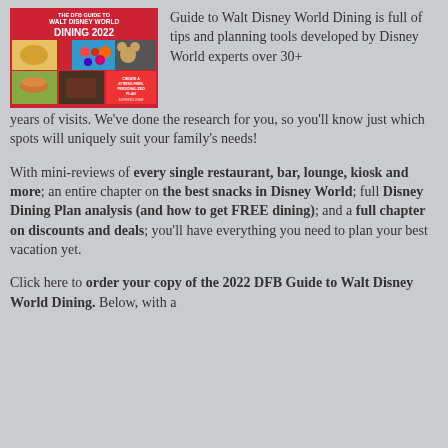[Figure (illustration): Book cover of 'The DFB Guide to Walt Disney World Dining 2022' showing food photos]
Guide to Walt Disney World Dining is full of tips and planning tools developed by Disney World experts over 30+ years of visits. We've done the research for you, so you'll know just which spots will uniquely suit your family's needs!
With mini-reviews of every single restaurant, bar, lounge, kiosk and more; an entire chapter on the best snacks in Disney World; full Disney Dining Plan analysis (and how to get FREE dining); and a full chapter on discounts and deals; you'll have everything you need to plan your best vacation yet.
Click here to order your copy of the 2022 DFB Guide to Walt Disney World Dining. Below, with a